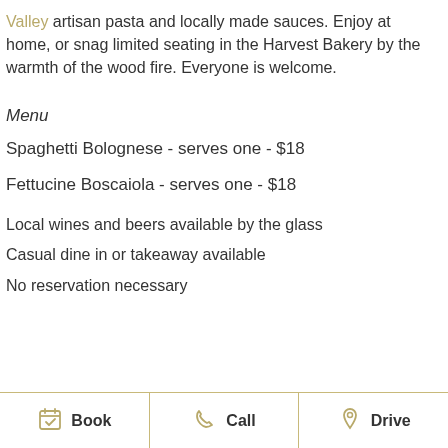Valley artisan pasta and locally made sauces. Enjoy at home, or snag limited seating in the Harvest Bakery by the warmth of the wood fire. Everyone is welcome.
Menu
Spaghetti Bolognese - serves one - $18
Fettucine Boscaiola - serves one - $18
Local wines and beers available by the glass
Casual dine in or takeaway available
No reservation necessary
Book   Call   Drive